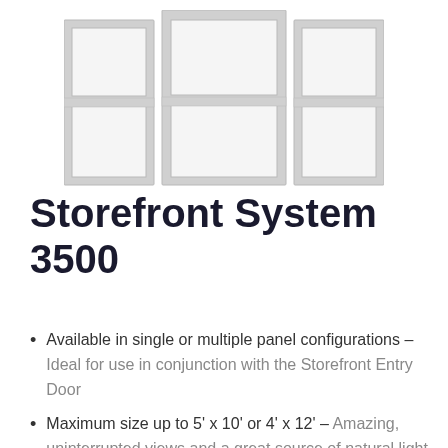[Figure (schematic): Storefront window system schematic showing a three-panel aluminum frame with a wide center panel and two narrower side panels, each divided by a horizontal mullion into upper and lower glass lites.]
Storefront System 3500
Available in single or multiple panel configurations – Ideal for use in conjunction with the Storefront Entry Door
Maximum size up to 5' x 10' or 4' x 12'  – Amazing, uninterrupted views and a great source of natural light